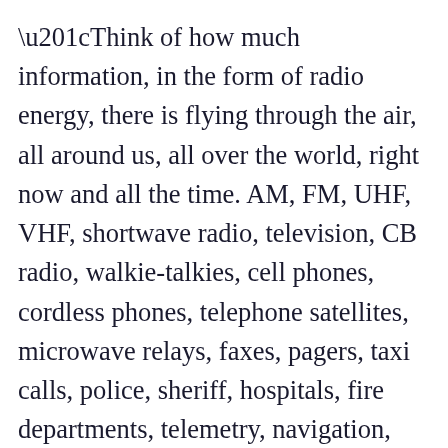“Think of how much information, in the form of radio energy, there is flying through the air, all around us, all over the world, right now and all the time. AM, FM, UHF, VHF, shortwave radio, television, CB radio, walkie-talkies, cell phones, cordless phones, telephone satellites, microwave relays, faxes, pagers, taxi calls, police, sheriff, hospitals, fire departments, telemetry, navigation, radar, the military, government, financial, legal, medical, the media, etc., etc., etc. Trillions and trillions and trillions and trillions of separate little bits of electronic information flying all around the world through the air at all times. Think of that. Think of how busy the air is. Now realize this: A hundred years ago